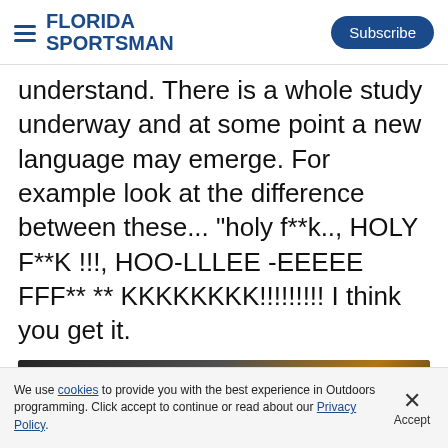FLORIDA SPORTSMAN | Subscribe
understand. There is a whole study underway and at some point a new language may emerge. For example look at the difference between these... "holy f**k.., HOLY F**K !!!, HOO-LLLEE -EEEEE FFF** ** KKKKKKKK!!!!!!!!! I think you get it.
[Figure (screenshot): Advertisement banner: Scary Viral Boat Collision Has A Harrowing Aftermath with LEARN MORE button]
We use cookies to provide you with the best experience in Outdoors programming. Click accept to continue or read about our Privacy Policy.